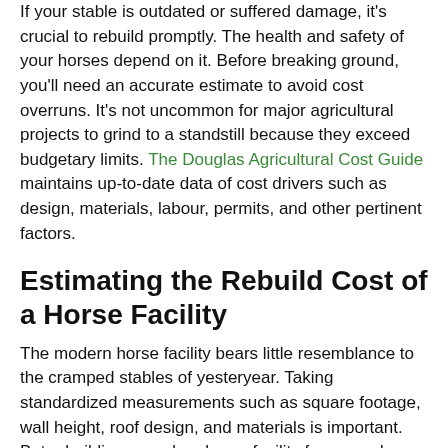If your stable is outdated or suffered damage, it's crucial to rebuild promptly. The health and safety of your horses depend on it. Before breaking ground, you'll need an accurate estimate to avoid cost overruns. It's not uncommon for major agricultural projects to grind to a standstill because they exceed budgetary limits. The Douglas Agricultural Cost Guide maintains up-to-date data of cost drivers such as design, materials, labour, permits, and other pertinent factors.
Estimating the Rebuild Cost of a Horse Facility
The modern horse facility bears little resemblance to the cramped stables of yesteryear. Taking standardized measurements such as square footage, wall height, roof design, and materials is important. But rebuilding a modern horse facility far exceeds simple calculations. These are examples of modern stable elements that do not necessarily figure into basic square-footage methods.